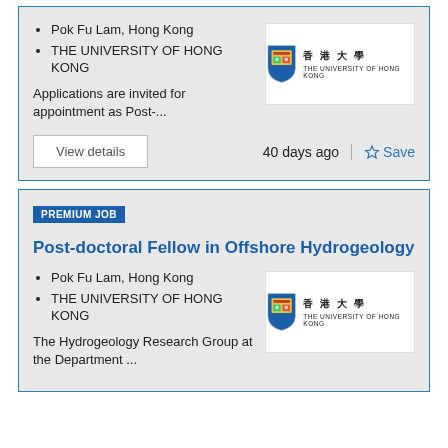Pok Fu Lam, Hong Kong
THE UNIVERSITY OF HONG KONG
[Figure (logo): The University of Hong Kong logo with shield crest and Chinese/English text]
Applications are invited for appointment as Post-...
View details
40 days ago
Save
PREMIUM JOB
Post-doctoral Fellow in Offshore Hydrogeology
Pok Fu Lam, Hong Kong
THE UNIVERSITY OF HONG KONG
[Figure (logo): The University of Hong Kong logo with shield crest and Chinese/English text]
The Hydrogeology Research Group at the Department ...